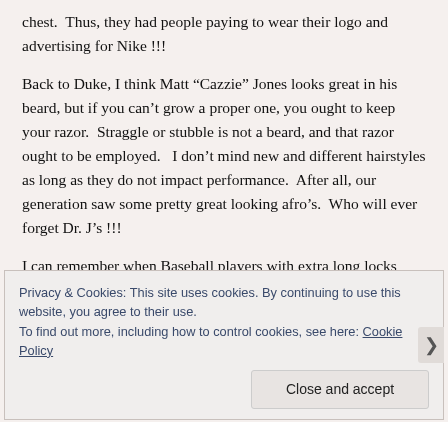chest.  Thus, they had people paying to wear their logo and advertising for Nike !!!
Back to Duke, I think Matt “Cazzie” Jones looks great in his beard, but if you can’t grow a proper one, you ought to keep your razor.  Straggle or stubble is not a beard, and that razor ought to be employed.   I don’t mind new and different hairstyles as long as they do not impact performance.  After all, our generation saw some pretty great looking afro’s.  Who will ever forget Dr. J’s !!!
I can remember when Baseball players with extra long locks
Privacy & Cookies: This site uses cookies. By continuing to use this website, you agree to their use.
To find out more, including how to control cookies, see here: Cookie Policy
Close and accept